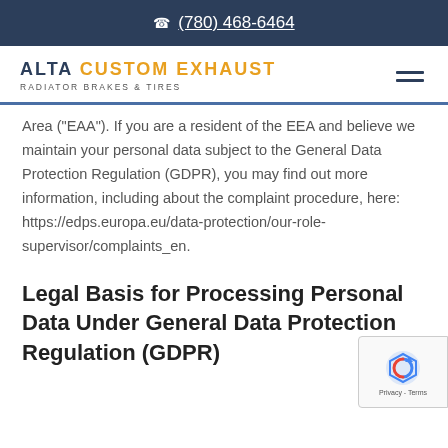(780) 468-6464
[Figure (logo): Alta Custom Exhaust logo with navigation hamburger menu]
Area ("EAA"). If you are a resident of the EEA and believe we maintain your personal data subject to the General Data Protection Regulation (GDPR), you may find out more information, including about the complaint procedure, here: https://edps.europa.eu/data-protection/our-role-supervisor/complaints_en.
Legal Basis for Processing Personal Data Under General Data Protection Regulation (GDPR)